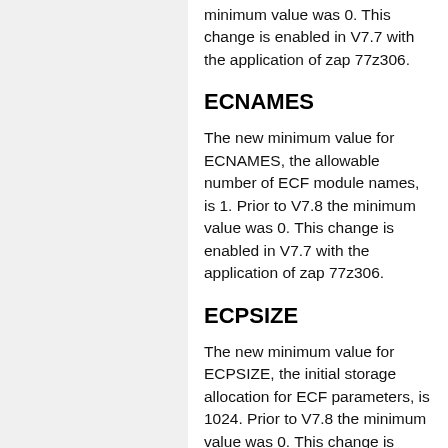minimum value was 0. This change is enabled in V7.7 with the application of zap 77z306.
ECNAMES
The new minimum value for ECNAMES, the allowable number of ECF module names, is 1. Prior to V7.8 the minimum value was 0. This change is enabled in V7.7 with the application of zap 77z306.
ECPSIZE
The new minimum value for ECPSIZE, the initial storage allocation for ECF parameters, is 1024. Prior to V7.8 the minimum value was 0. This change is enabled in V7.7 with the application of zap